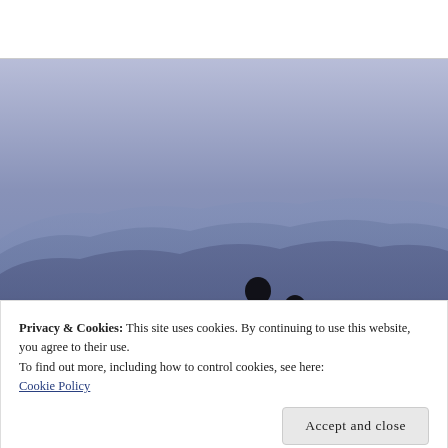[Figure (photo): Two people (silhouettes) viewed from behind, looking out over layered mountain ridges in blue-purple haze at dusk or dawn. The sky is a soft blue-grey gradient.]
Privacy & Cookies: This site uses cookies. By continuing to use this website, you agree to their use.
To find out more, including how to control cookies, see here:
Cookie Policy
Accept and close